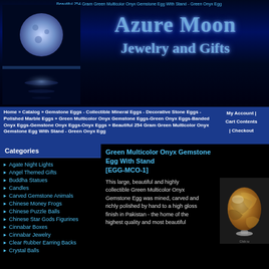Beautiful 254 Gram Green Multicolor Onyx Gemstone Egg With Stand - Green Onyx Egg
[Figure (illustration): Azure Moon Jewelry and Gifts banner with blue moon reflection over water on dark night sky, with decorative gothic text logo]
Home » Catalog » Gemstone Eggs - Collectible Mineral Eggs - Decorative Stone Eggs - Polished Marble Eggs » Green Multicolor Onyx Gemstone Eggs-Green Onyx Eggs-Banded Onyx Eggs-Gemstone Onyx Eggs-Onyx Eggs » Beautiful 254 Gram Green Multicolor Onyx Gemstone Egg With Stand - Green Onyx Egg
My Account  |  Cart Contents  |  Checkout
Categories
Agate Night Lights
Angel Themed Gifts
Buddha Statues
Candles
Carved Gemstone Animals
Chinese Money Frogs
Chinese Puzzle Balls
Chinese Star Gods Figurines
Cinnabar Boxes
Cinnabar Jewelry
Clear Rubber Earring Backs
Crystal Balls
Green Multicolor Onyx Gemstone Egg With Stand [EGG-MCO-1]
This large, beautiful and highly collectible Green Multicolor Onyx Gemstone Egg was mined, carved and richly polished by hand to a high gloss finish in Pakistan - the home of the highest quality and most beautiful
[Figure (photo): Green Multicolor Onyx Gemstone Egg with stand - oval egg shaped stone with golden-green swirling patterns]